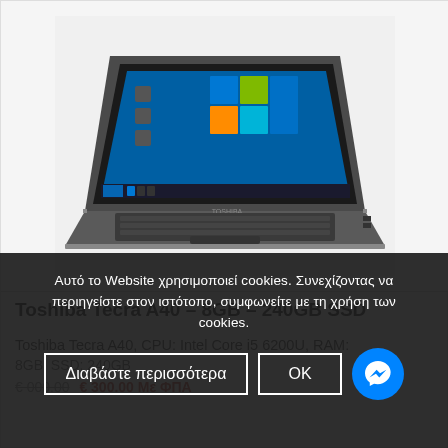[Figure (photo): Toshiba Tecra A40 laptop computer with Windows 10 screen, dark gray chassis, viewed from front-left angle showing keyboard and display]
Toshiba Tecra A40 – 8GB – 240GB SSD
Toshiba Tecra A40, CPU: Intel Core i5 6200U, RAM:
8GB, SSD: 240GB
€ 300.00 Με ΦΠΑ
Αυτό το Website χρησιμοποιεί cookies. Συνεχίζοντας να περιηγείστε στον ιστότοπο, συμφωνείτε με τη χρήση των cookies.
Διαβάστε περισσότερα
OK